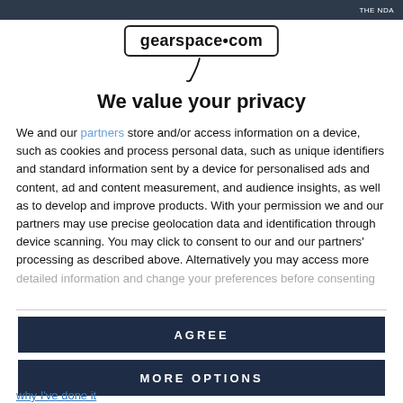THE NDA
[Figure (logo): gearspace.com logo with microphone cable graphic]
We value your privacy
We and our partners store and/or access information on a device, such as cookies and process personal data, such as unique identifiers and standard information sent by a device for personalised ads and content, ad and content measurement, and audience insights, as well as to develop and improve products. With your permission we and our partners may use precise geolocation data and identification through device scanning. You may click to consent to our and our partners' processing as described above. Alternatively you may access more detailed information and change your preferences before consenting
AGREE
MORE OPTIONS
why I've done it